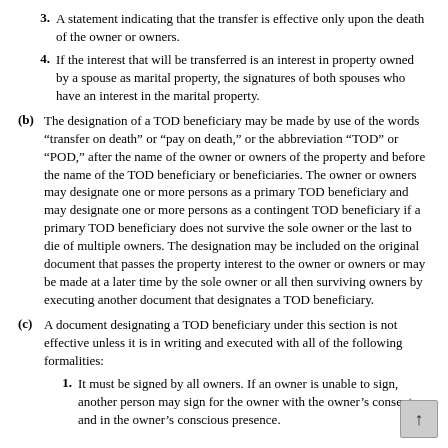3. A statement indicating that the transfer is effective only upon the death of the owner or owners.
4. If the interest that will be transferred is an interest in property owned by a spouse as marital property, the signatures of both spouses who have an interest in the marital property.
(b) The designation of a TOD beneficiary may be made by use of the words “transfer on death” or “pay on death,” or the abbreviation “TOD” or “POD,” after the name of the owner or owners of the property and before the name of the TOD beneficiary or beneficiaries. The owner or owners may designate one or more persons as a primary TOD beneficiary and may designate one or more persons as a contingent TOD beneficiary if a primary TOD beneficiary does not survive the sole owner or the last to die of multiple owners. The designation may be included on the original document that passes the property interest to the owner or owners or may be made at a later time by the sole owner or all then surviving owners by executing another document that designates a TOD beneficiary.
(c) A document designating a TOD beneficiary under this section is not effective unless it is in writing and executed with all of the following formalities:
1. It must be signed by all owners. If an owner is unable to sign, another person may sign for the owner with the owner’s consent and in the owner’s conscious presence.